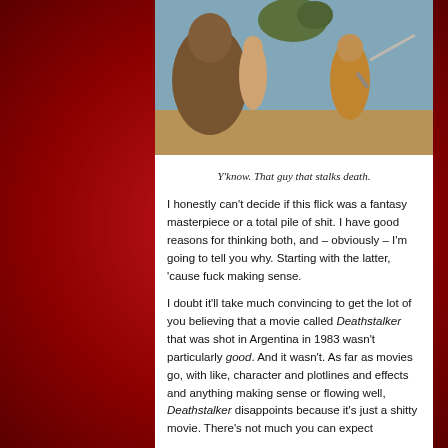[Figure (illustration): Fantasy illustration showing muscular barbarian warrior with sword fighting a large reptilian creature, with a woman nearby. Sword and sorcery pulp art style.]
Y'know. That guy that stalks death.
I honestly can't decide if this flick was a fantasy masterpiece or a total pile of shit. I have good reasons for thinking both, and – obviously – I'm going to tell you why. Starting with the latter, 'cause fuck making sense.
I doubt it'll take much convincing to get the lot of you believing that a movie called Deathstalker that was shot in Argentina in 1983 wasn't particularly good. And it wasn't. As far as movies go, with like, character and plotlines and effects and anything making sense or flowing well, Deathstalker disappoints because it's just a shitty movie. There's not much you can expect